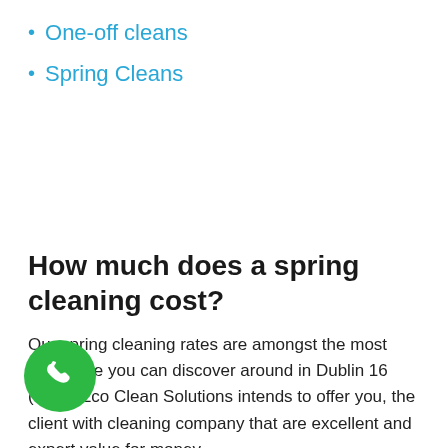One-off cleans
Spring Cleans
How much does a spring cleaning cost?
Our spring cleaning rates are amongst the most affordable you can discover around in Dublin 16 (D16). Eco Clean Solutions intends to offer you, the client with cleaning company that are excellent and expert value for money.
Call now on 015039877 and get your instant free quote. Our assistants will describe all details on how you can save cash and